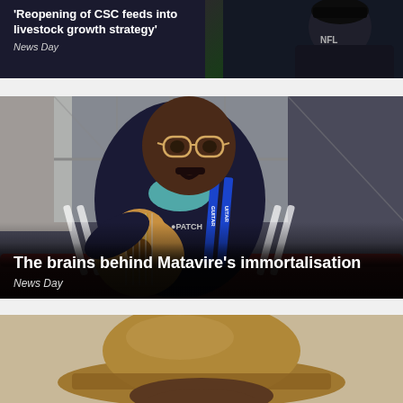[Figure (photo): News article card with dark background showing a person, with text overlay. Headline: 'Reopening of CSC feeds into livestock growth strategy'. Source: News Day.]
'Reopening of CSC feeds into livestock growth strategy'
News Day
[Figure (photo): News article card showing a young man playing guitar, wearing glasses and a lanyard, seated indoors. Text overlay at bottom reads: 'The brains behind Matavire's immortalisation'. Source: News Day.]
The brains behind Matavire's immortalisation
News Day
[Figure (photo): Partial news article card showing top of a person's head with a hat, partially visible at the bottom of the page.]